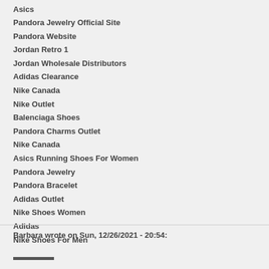Asics
Pandora Jewelry Official Site
Pandora Website
Jordan Retro 1
Jordan Wholesale Distributors
Adidas Clearance
Nike Canada
Nike Outlet
Balenciaga Shoes
Pandora Charms Outlet
Nike Canada
Asics Running Shoes For Women
Pandora Jewelry
Pandora Bracelet
Adidas Outlet
Nike Shoes Women
Adidas
Nike Shoes For Men
Barbara wrote on Sun, 12/26/2021 - 20:54: